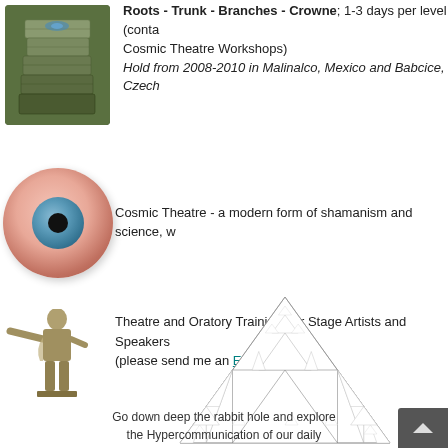[Figure (photo): Photo of stone sculptures/stacked rocks in nature setting]
Roots - Trunk - Branches - Crowne; 1-3 days per level (contact Cosmic Theatre Workshops)
Hold from 2008-2010 in Malinalco, Mexico and Babcice, Czech
[Figure (illustration): Illustration of an eyeball/human eye]
Cosmic Theatre - a modern form of shamanism and science, w
[Figure (photo): Photo/illustration of a classical statue with outstretched arm]
Theatre and Oratory Training, for Stage Artists and Speakers (please send me an Email)
[Figure (illustration): Sierpinski triangle fractal illustration]
Go down deep the rabbit hole and explore the Hypercommunication of our daily